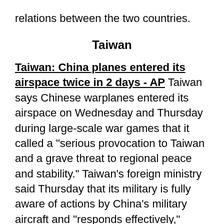relations between the two countries.
Taiwan
Taiwan: China planes entered its airspace twice in 2 days - AP Taiwan says Chinese warplanes entered its airspace on Wednesday and Thursday during large-scale war games that it called a “serious provocation to Taiwan and a grave threat to regional peace and stability.” Taiwan’s foreign ministry said Thursday that its military is fully aware of actions by China's military aircraft and “responds effectively,” without giving details.
POLITICO Pro Q&A: Taiwan’s top U.S. diplomat presses for free trade agreement - POLITICO Taiwan President President Tsai Ing-wen laid out her hopes for the countries to finally begin